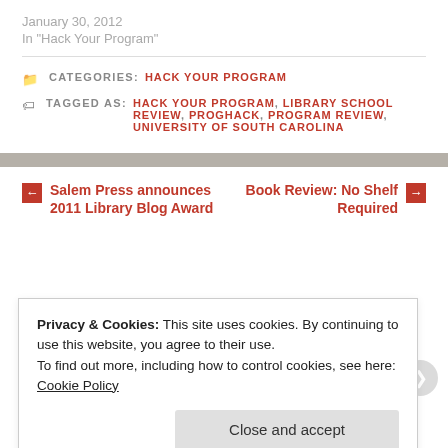January 30, 2012
In "Hack Your Program"
CATEGORIES: HACK YOUR PROGRAM
TAGGED AS: HACK YOUR PROGRAM, LIBRARY SCHOOL REVIEW, PROGHACK, PROGRAM REVIEW, UNIVERSITY OF SOUTH CAROLINA
← Salem Press announces 2011 Library Blog Award
Book Review: No Shelf Required →
Privacy & Cookies: This site uses cookies. By continuing to use this website, you agree to their use.
To find out more, including how to control cookies, see here:
Cookie Policy
Close and accept